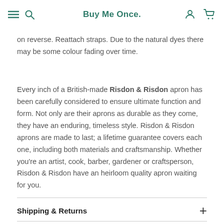Buy Me Once.
on reverse. Reattach straps. Due to the natural dyes there may be some colour fading over time.
Every inch of a British-made Risdon & Risdon apron has been carefully considered to ensure ultimate function and form. Not only are their aprons as durable as they come, they have an enduring, timeless style. Risdon & Risdon aprons are made to last; a lifetime guarantee covers each one, including both materials and craftsmanship. Whether you're an artist, cook, barber, gardener or craftsperson, Risdon & Risdon have an heirloom quality apron waiting for you.
Shipping & Returns